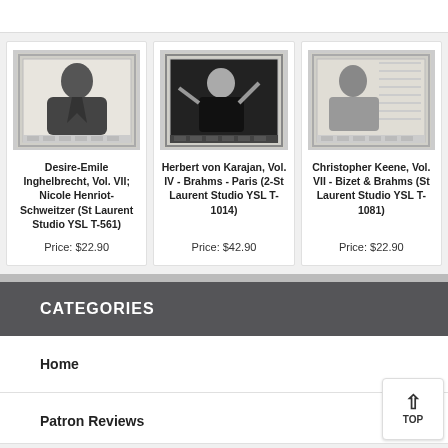[Figure (photo): Product card: black and white photo of Desire-Emile Inghelbrecht]
Desire-Emile Inghelbrecht, Vol. VII; Nicole Henriot-Schweitzer (St Laurent Studio YSL T-561)
Price: $22.90
[Figure (photo): Product card: black and white photo of Herbert von Karajan conducting]
Herbert von Karajan, Vol. IV - Brahms - Paris (2-St Laurent Studio YSL T-1014)
Price: $42.90
[Figure (photo): Product card: black and white photo of Christopher Keene]
Christopher Keene, Vol. VII - Bizet & Brahms (St Laurent Studio YSL T-1081)
Price: $22.90
CATEGORIES
Home
Patron Reviews